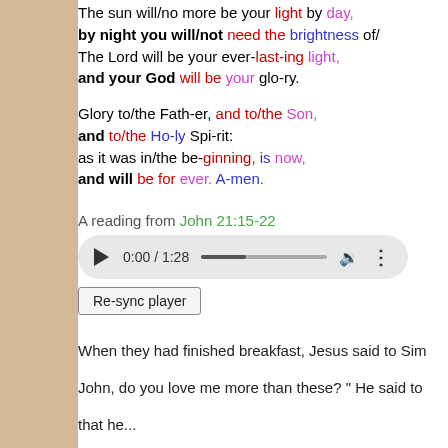The sun will/no more be your light by day, by night you will/not need the brightness of/ The Lord will be your ever-last-ing light, and your God will be your glo-ry.
Glory to/the Fath-er, and to/the Son, and to/the Ho-ly Spi-rit: as it was in/the be-ginning, is now, and will be for ever. A-men.
A reading from John 21:15-22
[Figure (other): Audio player showing 0:00 / 1:28 with play button, progress bar, volume and more options]
Re-sync player
When they had finished breakfast, Jesus said to Sim- John, do you love me more than these? " He said to that he...